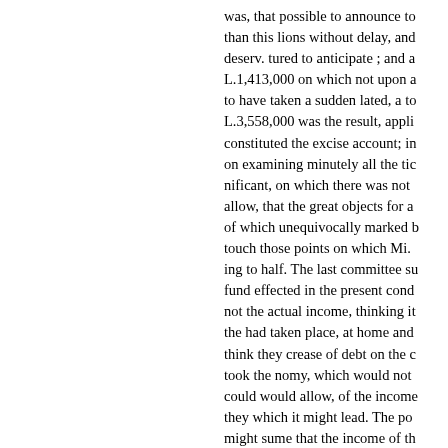was, that possible to announce to than this lions without delay, and deserv. tured to anticipate ; and a L.1,413,000 on which not upon a to have taken a sudden lated, a to L.3,558,000 was the result, appli constituted the excise account; in on examining minutely all the tic nificant, on which there was not allow, that the great objects for a of which unequivocally marked b touch those points on which Mi. ing to half. The last committee su fund effected in the present cond not the actual income, thinking it the had taken place, at home and think they crease of debt on the c took the nomy, which would not could would allow, of the income they which it might lead. The po might sume that the income of th the ex- but at present it was only important facts. net surplus of L.